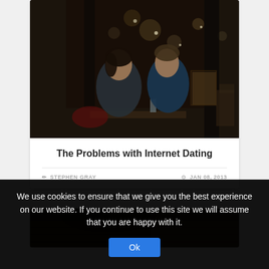[Figure (photo): Two people on a date at a restaurant at night, city lights visible through the window behind them]
The Problems with Internet Dating
✏ STEPHEN GRAY   ⊙ JAN 08, 2013
[Figure (photo): Partial view of a second article image, dark wooden table surface]
We use cookies to ensure that we give you the best experience on our website. If you continue to use this site we will assume that you are happy with it.